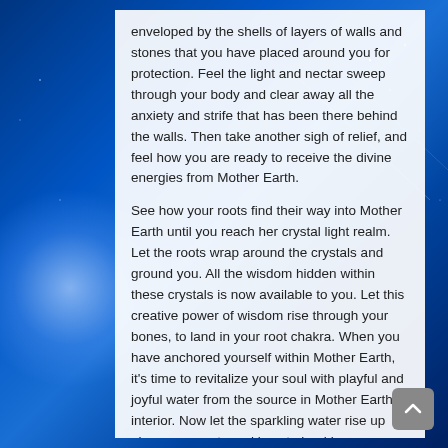enveloped by the shells of layers of walls and stones that you have placed around you for protection. Feel the light and nectar sweep through your body and clear away all the anxiety and strife that has been there behind the walls. Then take another sigh of relief, and feel how you are ready to receive the divine energies from Mother Earth.

See how your roots find their way into Mother Earth until you reach her crystal light realm. Let the roots wrap around the crystals and ground you. All the wisdom hidden within these crystals is now available to you. Let this creative power of wisdom rise through your bones, to land in your root chakra. When you have anchored yourself within Mother Earth, it's time to revitalize your soul with playful and joyful water from the source in Mother Earth's interior. Now let the sparkling water rise up along your roots and legs to land in your umbilical chakra. You have now taken your first step on the